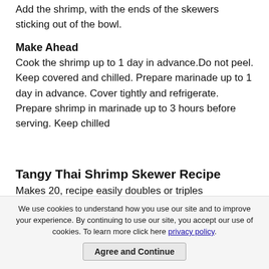Add the shrimp, with the ends of the skewers sticking out of the bowl.
Make Ahead
Cook the shrimp up to 1 day in advance.Do not peel. Keep covered and chilled. Prepare marinade up to 1 day in advance. Cover tightly and refrigerate. Prepare shrimp in marinade up to 3 hours before serving. Keep chilled
Tangy Thai Shrimp Skewer Recipe
Makes 20, recipe easily doubles or triples
We use cookies to understand how you use our site and to improve your experience. By continuing to use our site, you accept our use of cookies. To learn more click here privacy policy. Agree and Continue